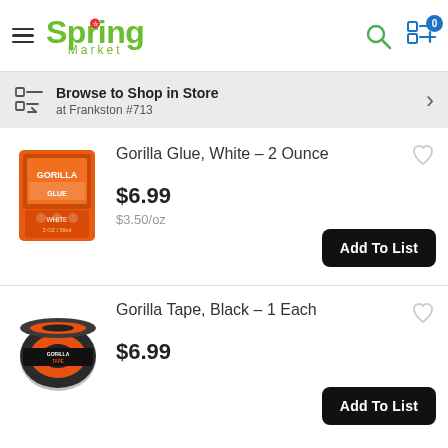Spring Market
Browse to Shop in Store at Frankston #713
[Figure (photo): Gorilla Glue white 2 ounce product box, orange packaging]
Gorilla Glue, White - 2 Ounce
$6.99
$3.50/oz
[Figure (photo): Gorilla Tape black roll, orange and black packaging]
Gorilla Tape, Black - 1 Each
$6.99